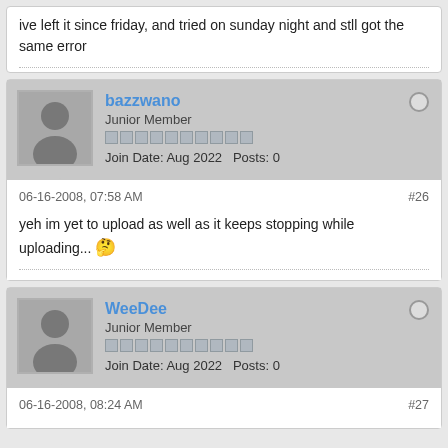ive left it since friday, and tried on sunday night and stll got the same error
bazzwano
Junior Member
Join Date: Aug 2022  Posts: 0
06-16-2008, 07:58 AM  #26
yeh im yet to upload as well as it keeps stopping while uploading...
WeeDee
Junior Member
Join Date: Aug 2022  Posts: 0
06-16-2008, 08:24 AM  #27